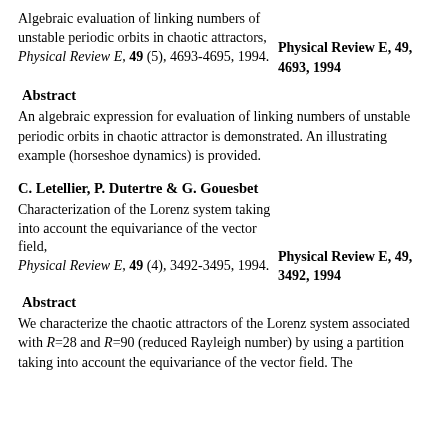Algebraic evaluation of linking numbers of unstable periodic orbits in chaotic attractors, Physical Review E, 49 (5), 4693-4695, 1994.
Physical Review E, 49, 4693, 1994
Abstract
An algebraic expression for evaluation of linking numbers of unstable periodic orbits in chaotic attractor is demonstrated. An illustrating example (horseshoe dynamics) is provided.
C. Letellier, P. Dutertre & G. Gouesbet
Characterization of the Lorenz system taking into account the equivariance of the vector field, Physical Review E, 49 (4), 3492-3495, 1994.
Physical Review E, 49, 3492, 1994
Abstract
We characterize the chaotic attractors of the Lorenz system associated with R=28 and R=90 (reduced Rayleigh number) by using a partition taking into account the equivariance of the vector field. The